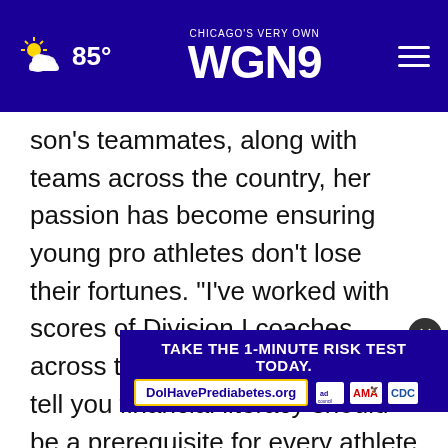CHICAGO'S VERY OWN WGN 9 | 85°
son's teammates, along with teams across the country, her passion has become ensuring young pro athletes don't lose their fortunes. "I've worked with scores of Division I coaches across the country. They will also tell you financial literacy should be a prerequisite for every athlete before they go pro," says Langemeier.
"Most parents are never given the insight into how to teach their children about money," says Scott
[Figure (screenshot): Advertisement banner: TAKE THE 1-MINUTE RISK TEST TODAY. DolHavePrediabetes.org with ad council, AMA, and CDC logos.]